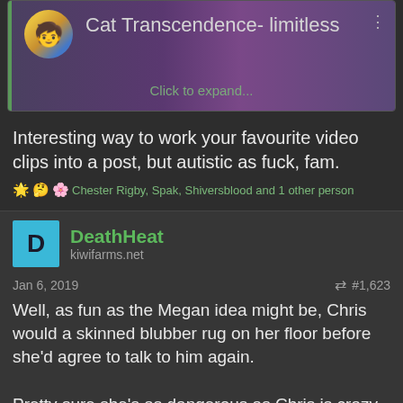[Figure (screenshot): Forum post card with avatar, username 'Cat Transcendence- limitless', purple/teal galaxy background, 'Click to expand...' link]
Interesting way to work your favourite video clips into a post, but autistic as fuck, fam.
Chester Rigby, Spak, Shiversblood and 1 other person
DeathHeat
kiwifarms.net
Jan 6, 2019    #1,623
Well, as fun as the Megan idea might be, Chris would a skinned blubber rug on her floor before she'd agree to talk to him again.

Pretty sure she's as dangerous as Chris is crazy.
Cardboard Box Mountain and The Un-Clit